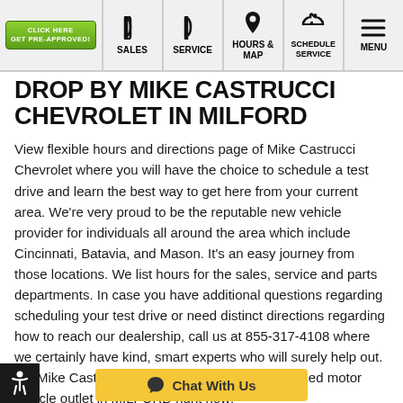Get Pre-Approved! | SALES | SERVICE | HOURS & MAP | SCHEDULE SERVICE | MENU
DROP BY MIKE CASTRUCCI CHEVROLET IN MILFORD
View flexible hours and directions page of Mike Castrucci Chevrolet where you will have the choice to schedule a test drive and learn the best way to get here from your current area. We're very proud to be the reputable new vehicle provider for individuals all around the area which include Cincinnati, Batavia, and Mason. It's an easy journey from those locations. We list hours for the sales, service and parts departments. In case you have additional questions regarding scheduling your test drive or need distinct directions regarding how to reach our dealership, call us at 855-317-4108 where we certainly have kind, smart experts who will surely help out. Let Mike Castrucci Chevrolet be your new and used motor vehicle outlet in MILFORD right now!